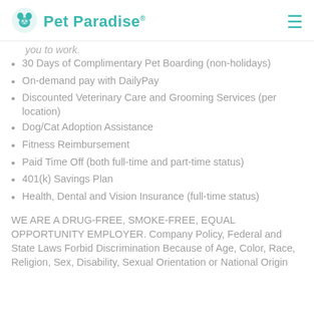Pet Paradise
you to work.
30 Days of Complimentary Pet Boarding (non-holidays)
On-demand pay with DailyPay
Discounted Veterinary Care and Grooming Services (per location)
Dog/Cat Adoption Assistance
Fitness Reimbursement
Paid Time Off (both full-time and part-time status)
401(k) Savings Plan
Health, Dental and Vision Insurance (full-time status)
WE ARE A DRUG-FREE, SMOKE-FREE, EQUAL OPPORTUNITY EMPLOYER. Company Policy, Federal and State Laws Forbid Discrimination Because of Age, Color, Race, Religion, Sex, Disability, Sexual Orientation or National Origin